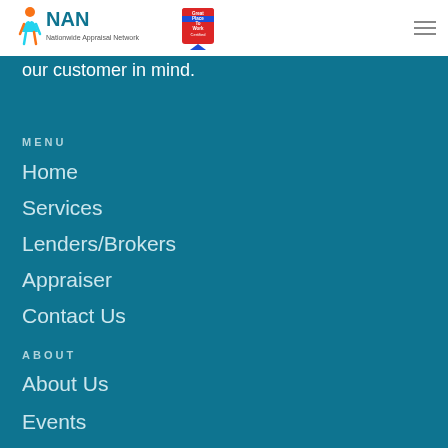[Figure (logo): NAN Nationwide Appraisal Network logo with colorful icon and Great Place to Work Certified badge]
our customer in mind.
MENU
Home
Services
Lenders/Brokers
Appraiser
Contact Us
ABOUT
About Us
Events